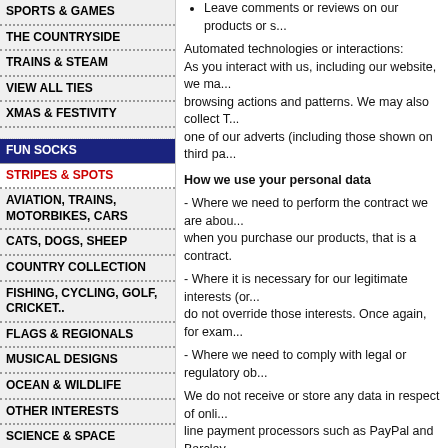Leave comments or reviews on our products or s...
Automated technologies or interactions: As you interact with us, including our website, we ma... browsing actions and patterns. We may also collect T... one of our adverts (including those shown on third pa...
How we use your personal data
- Where we need to perform the contract we are abou... when you purchase our products, that is a contract.
- Where it is necessary for our legitimate interests (or... do not override those interests. Once again, for exam...
- Where we need to comply with legal or regulatory ob...
We do not receive or store any data in respect of onli... line payment processors such as PayPal and Barclay...
Where payment is made by phone using a credit card... never stored on paper after payment has been proce...
We may periodically send promotional emails about n... think you may find of interest. using the email address... at any time by visiting our site OR emailing us directly...
By using this site or placing orders, you are deemed t... statement.
We may change this policy from time to time by upda... ensure you are happy with any changes.
SPORTS & GAMES
THE COUNTRYSIDE
TRAINS & STEAM
VIEW ALL TIES
XMAS & FESTIVITY
FUN SOCKS
STRIPES & SPOTS
AVIATION, TRAINS, MOTORBIKES, CARS
CATS, DOGS, SHEEP
COUNTRY COLLECTION
FISHING, CYCLING, GOLF, CRICKET..
FLAGS & REGIONALS
MUSICAL DESIGNS
OCEAN & WILDLIFE
OTHER INTERESTS
SCIENCE & SPACE
VIEW ALL SOCKS
DISPLAY STANDS
DISPLAY STANDS
CUFF LINKS
AVIATION CUFFLINKS